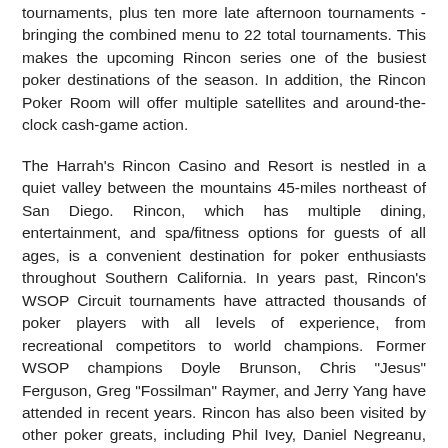tournaments, plus ten more late afternoon tournaments - bringing the combined menu to 22 total tournaments. This makes the upcoming Rincon series one of the busiest poker destinations of the season. In addition, the Rincon Poker Room will offer multiple satellites and around-the-clock cash-game action.
The Harrah's Rincon Casino and Resort is nestled in a quiet valley between the mountains 45-miles northeast of San Diego. Rincon, which has multiple dining, entertainment, and spa/fitness options for guests of all ages, is a convenient destination for poker enthusiasts throughout Southern California. In years past, Rincon's WSOP Circuit tournaments have attracted thousands of poker players with all levels of experience, from recreational competitors to world champions. Former WSOP champions Doyle Brunson, Chris "Jesus" Ferguson, Greg "Fossilman" Raymer, and Jerry Yang have attended in recent years. Rincon has also been visited by other poker greats, including Phil Ivey, Daniel Negreanu, Berry Greenstein, Phil Gordon, Chris Moneymaker, Annie Duke, Howard Lederer, Scotty Nguyen and many other superstars.